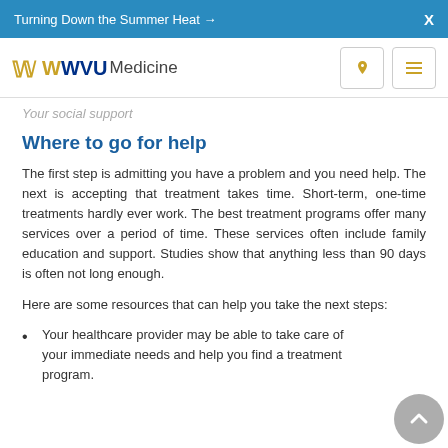Turning Down the Summer Heat →  X
WVU Medicine
Your social support
Where to go for help
The first step is admitting you have a problem and you need help. The next is accepting that treatment takes time. Short-term, one-time treatments hardly ever work. The best treatment programs offer many services over a period of time. These services often include family education and support. Studies show that anything less than 90 days is often not long enough.
Here are some resources that can help you take the next steps:
Your healthcare provider may be able to take care of your immediate needs and help you find a treatment program.